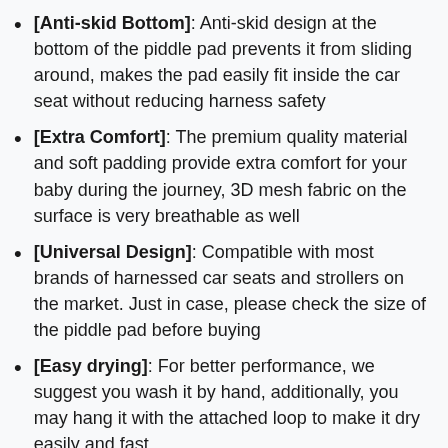[Anti-skid Bottom]: Anti-skid design at the bottom of the piddle pad prevents it from sliding around, makes the pad easily fit inside the car seat without reducing harness safety
[Extra Comfort]: The premium quality material and soft padding provide extra comfort for your baby during the journey, 3D mesh fabric on the surface is very breathable as well
[Universal Design]: Compatible with most brands of harnessed car seats and strollers on the market. Just in case, please check the size of the piddle pad before buying
[Easy drying]: For better performance, we suggest you wash it by hand, additionally, you may hang it with the attached loop to make it dry easily and fast.